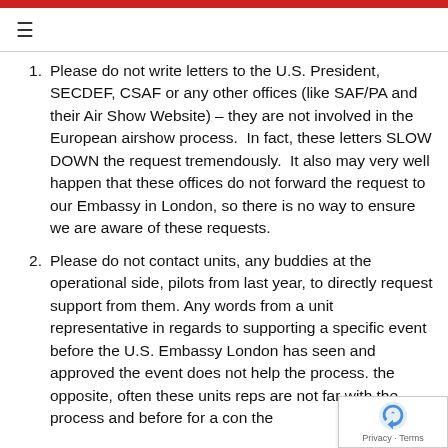≡
Please do not write letters to the U.S. President, SECDEF, CSAF or any other offices (like SAF/PA and their Air Show Website) – they are not involved in the European airshow process.  In fact, these letters SLOW DOWN the request tremendously.  It also may very well happen that these offices do not forward the request to our Embassy in London, so there is no way to ensure we are aware of these requests.
Please do not contact units, any buddies at the operational side, pilots from last year, to directly request support from them. Any words from a unit representative in regards to supporting a specific event before the U.S. Embassy London has seen and approved the event does not help the process. the opposite, often these units reps are not far with the process and before for a con the